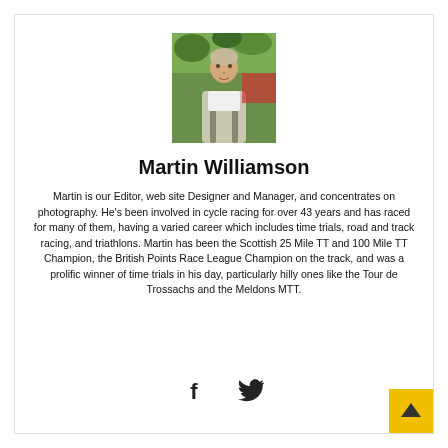[Figure (photo): Portrait photo of Martin Williamson outdoors with greenery in background, wearing a light-colored vest.]
Martin Williamson
Martin is our Editor, web site Designer and Manager, and concentrates on photography. He's been involved in cycle racing for over 43 years and has raced for many of them, having a varied career which includes time trials, road and track racing, and triathlons. Martin has been the Scottish 25 Mile TT and 100 Mile TT Champion, the British Points Race League Champion on the track, and was a prolific winner of time trials in his day, particularly hilly ones like the Tour de Trossachs and the Meldons MTT.
[Figure (infographic): Facebook and Twitter social media icons]
[Figure (other): Back to top arrow button (yellow background with up arrow)]